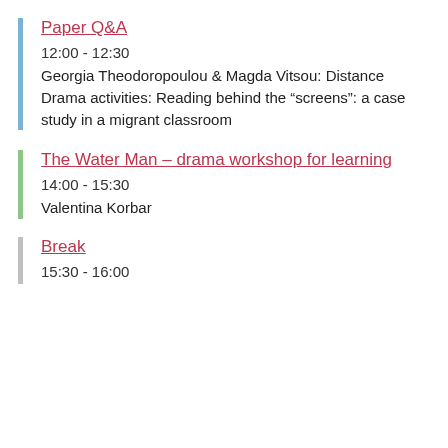Paper Q&A
12:00 - 12:30
Georgia Theodoropoulou & Magda Vitsou: Distance Drama activities: Reading behind the "screens": a case study in a migrant classroom
The Water Man – drama workshop for learning
14:00 - 15:30
Valentina Korbar
Break
15:30 - 16:00